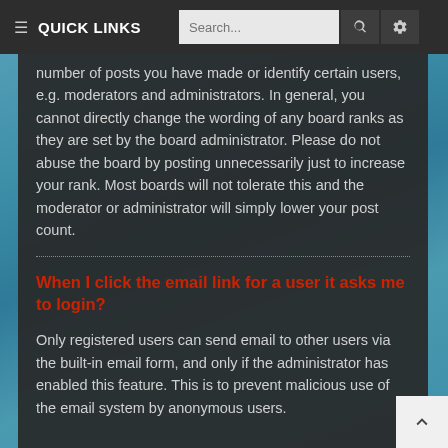QUICK LINKS
number of posts you have made or identify certain users, e.g. moderators and administrators. In general, you cannot directly change the wording of any board ranks as they are set by the board administrator. Please do not abuse the board by posting unnecessarily just to increase your rank. Most boards will not tolerate this and the moderator or administrator will simply lower your post count.
When I click the email link for a user it asks me to login?
Only registered users can send email to other users via the built-in email form, and only if the administrator has enabled this feature. This is to prevent malicious use of the email system by anonymous users.